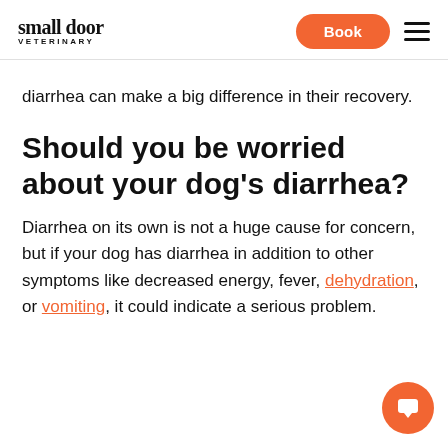small door VETERINARY | Book
diarrhea can make a big difference in their recovery.
Should you be worried about your dog's diarrhea?
Diarrhea on its own is not a huge cause for concern, but if your dog has diarrhea in addition to other symptoms like decreased energy, fever, dehydration, or vomiting, it could indicate a serious problem.